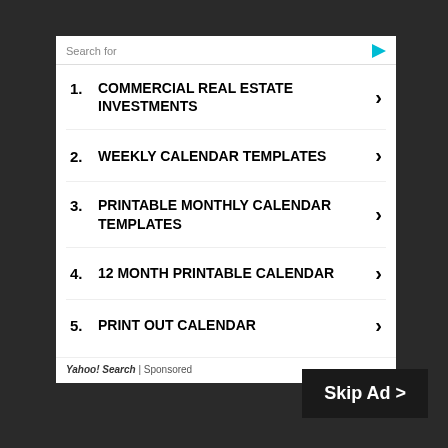Search for
1. COMMERCIAL REAL ESTATE INVESTMENTS
2. WEEKLY CALENDAR TEMPLATES
3. PRINTABLE MONTHLY CALENDAR TEMPLATES
4. 12 MONTH PRINTABLE CALENDAR
5. PRINT OUT CALENDAR
Yahoo! Search | Sponsored
Skip Ad >